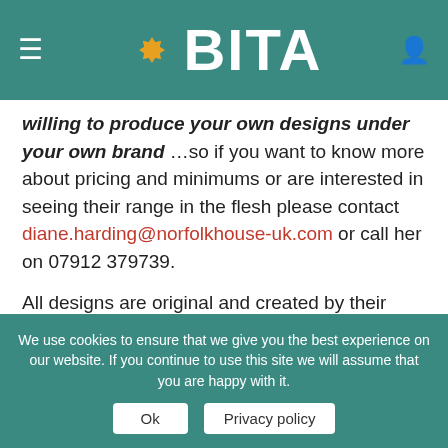BITA
willing to produce your own designs under your own brand ...so if you want to know more about pricing and minimums or are interested in seeing their range in the flesh please contact diane.harding@norfolkhouse-uk.com or call her on 07912 379739.

All designs are original and created by their talented textile design team. Developed from handpainted illustrations to high quality digital print.

The company uses natural fibres such as cotton
We use cookies to ensure that we give you the best experience on our website. If you continue to use this site we will assume that you are happy with it.
Ok  |  Privacy policy